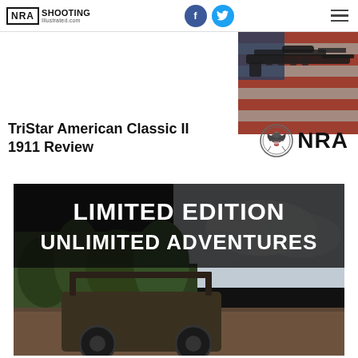NRA Shooting Illustrated .com
TriStar American Classic II 1911 Review
[Figure (photo): Photograph of a rifle against an American flag background with distressed red, white and blue colors]
[Figure (logo): NRA eagle seal logo with text NRA]
[Figure (photo): Advertisement banner with black background showing text LIMITED EDITION UNLIMITED ADVENTURES with a UTV vehicle in a forest/outdoor scene]